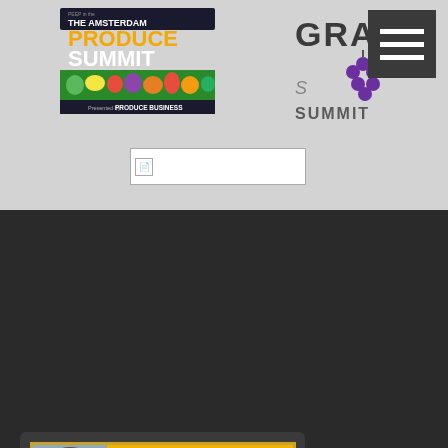[Figure (logo): The Amsterdam Produce Summit logo presented by Produce Business]
[Figure (logo): Grape Summit logo with grape cluster graphic]
[Figure (logo): Hamburger menu icon button]
[Figure (screenshot): Small broken image placeholder]
[Figure (photo): Jim Prevor's Perishable Pundit banner with photo of Jim Prevor]
THE GLOBAL GRAPE SUMMIT 2022From Six Continents, the Industry GathersTo Build The